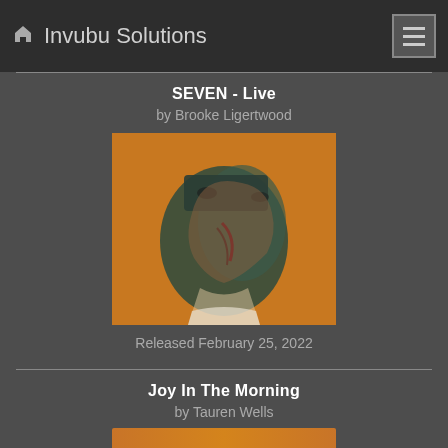Invubu Solutions
SEVEN - Live
by Brooke Ligertwood
[Figure (illustration): Album cover for SEVEN - Live by Brooke Ligertwood. A stylized portrait of a woman on an orange/amber background, with an artistic double-exposure or split-face effect showing two overlapping faces.]
Released February 25, 2022
Joy In The Morning
by Tauren Wells
[Figure (illustration): Partial view of album cover for Joy In The Morning by Tauren Wells — orange/amber strip visible at the bottom.]